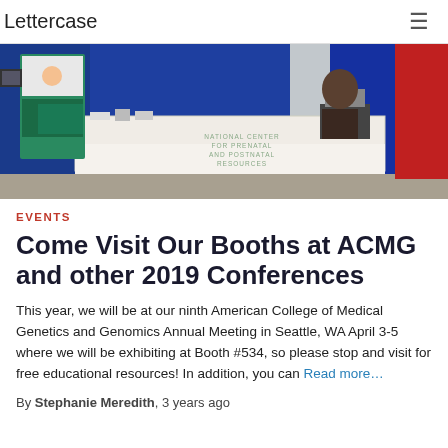Lettercase
[Figure (photo): A conference exhibition booth for the National Center for Prenatal and Postnatal Resources, with a white tablecloth-covered table, blue draping backdrop, and display banners showing children and health information.]
EVENTS
Come Visit Our Booths at ACMG and other 2019 Conferences
This year, we will be at our ninth American College of Medical Genetics and Genomics Annual Meeting in Seattle, WA April 3-5 where we will be exhibiting at Booth #534, so please stop and visit for free educational resources! In addition, you can Read more…
By Stephanie Meredith, 3 years ago